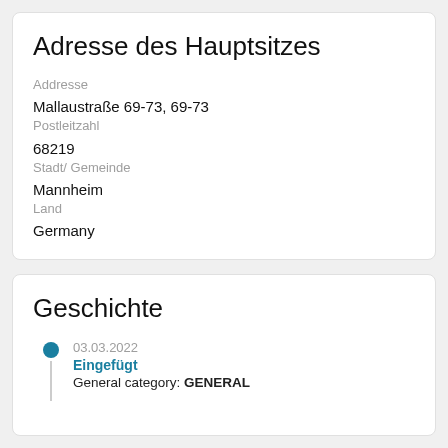Adresse des Hauptsitzes
Addresse
Mallaustraße 69-73, 69-73
Postleitzahl
68219
Stadt/ Gemeinde
Mannheim
Land
Germany
Geschichte
03.03.2022
Eingefügt
General category: GENERAL